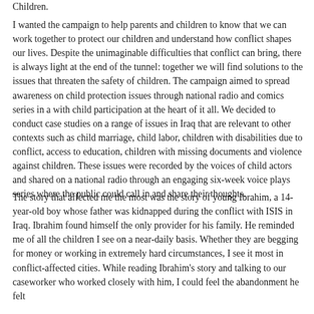Children.
I wanted the campaign to help parents and children to know that we can work together to protect our children and understand how conflict shapes our lives. Despite the unimaginable difficulties that conflict can bring, there is always light at the end of the tunnel: together we will find solutions to the issues that threaten the safety of children. The campaign aimed to spread awareness on child protection issues through national radio and comics series in a with child participation at the heart of it all. We decided to conduct case studies on a range of issues in Iraq that are relevant to other contexts such as child marriage, child labor, children with disabilities due to conflict, access to education, children with missing documents and violence against children. These issues were recorded by the voices of child actors and shared on a national radio through an engaging six-week voice plays series where the public could call in and share their thoughts.
The story that affected me the most was the story of young Ibrahim, a 14-year-old boy whose father was kidnapped during the conflict with ISIS in Iraq. Ibrahim found himself the only provider for his family. He reminded me of all the children I see on a near-daily basis. Whether they are begging for money or working in extremely hard circumstances, I see it most in conflict-affected cities. While reading Ibrahim's story and talking to our caseworker who worked closely with him, I could feel the abandonment he felt